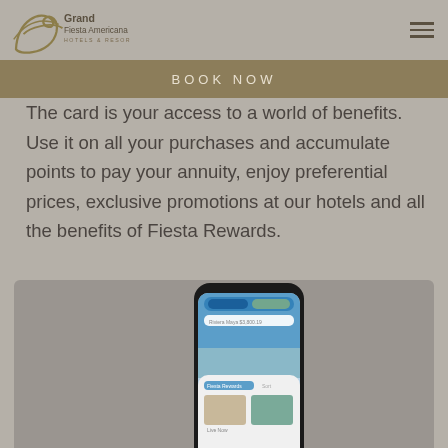Grand Fiesta Americana Hotels & Resorts
BOOK NOW
The card is your access to a world of benefits. Use it on all your purchases and accumulate points to pay your annuity, enjoy preferential prices, exclusive promotions at our hotels and all the benefits of Fiesta Rewards.
[Figure (photo): Smartphone displaying the Grand Fiesta Americana mobile app with hotel booking interface showing room options and a coastal destination image]